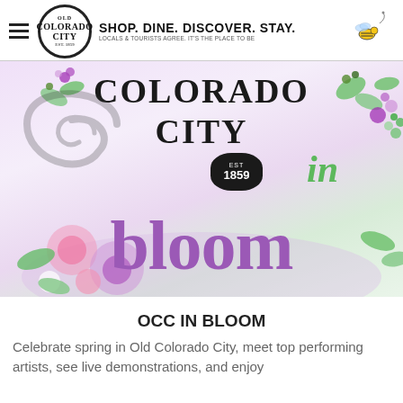Old Colorado City — SHOP. DINE. DISCOVER. STAY. LOCALS & TOURISTS AGREE. IT'S THE PLACE TO BE
[Figure (illustration): Colorado City in Bloom promotional banner with floral decorations, stylized text reading 'Colorado City EST 1859 in bloom' in black and purple lettering with colorful flowers]
OCC IN BLOOM
Celebrate spring in Old Colorado City, meet top performing artists, see live demonstrations, and enjoy